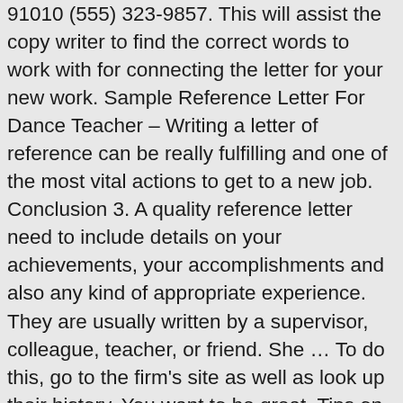91010 (555) 323-9857. This will assist the copy writer to find the correct words to work with for connecting the letter for your new work. Sample Reference Letter For Dance Teacher – Writing a letter of reference can be really fulfilling and one of the most vital actions to get to a new job. Conclusion 3. A quality reference letter need to include details on your achievements, your accomplishments and also any kind of appropriate experience. They are usually written by a supervisor, colleague, teacher, or friend. She … To do this, go to the firm's site as well as look up their history. You want to be great. Tips on Writing a Recommendation Letter for a Teacher . Jannette Doe (YOUR INFORMATION) 123 Park St Anywhere, MA 12345 555-555-5555 [email protected] January 1, 20XX Blythe Smith (INFORMATION OF RECIPIENT) Principal Choice Schools 123 School Rd Anywhere, MA 12345 Teacher Recommendation Letter –